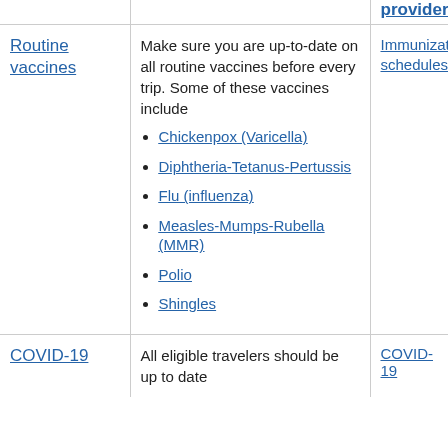| Vaccine | Description | Provider |
| --- | --- | --- |
| Routine vaccines | Make sure you are up-to-date on all routine vaccines before every trip. Some of these vaccines include: Chickenpox (Varicella), Diphtheria-Tetanus-Pertussis, Flu (influenza), Measles-Mumps-Rubella (MMR), Polio, Shingles | Immunization schedules |
| COVID-19 | All eligible travelers should be up to date | COVID-19 |